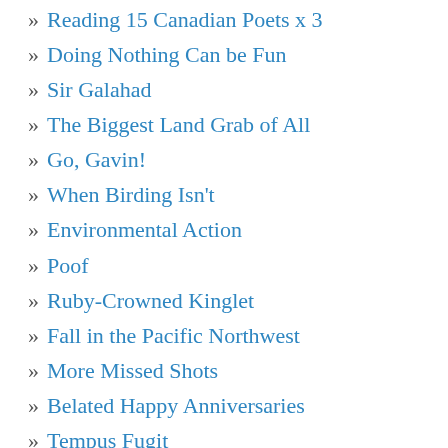Reading 15 Canadian Poets x 3
Doing Nothing Can be Fun
Sir Galahad
The Biggest Land Grab of All
Go, Gavin!
When Birding Isn't
Environmental Action
Poof
Ruby-Crowned Kinglet
Fall in the Pacific Northwest
More Missed Shots
Belated Happy Anniversaries
Tempus Fugit
Pursuing Beauty
Better Than a Day at the DMV
Passionate Imbalance